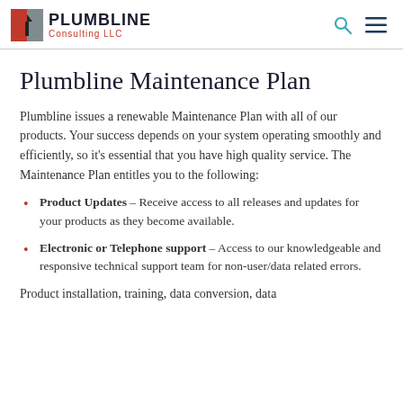PLUMBLINE Consulting LLC
Plumbline Maintenance Plan
Plumbline issues a renewable Maintenance Plan with all of our products. Your success depends on your system operating smoothly and efficiently, so it's essential that you have high quality service. The Maintenance Plan entitles you to the following:
Product Updates – Receive access to all releases and updates for your products as they become available.
Electronic or Telephone support – Access to our knowledgeable and responsive technical support team for non-user/data related errors.
Product installation, training, data conversion, data